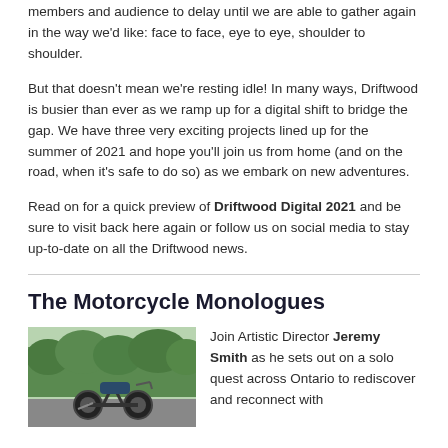members and audience to delay until we are able to gather again in the way we'd like: face to face, eye to eye, shoulder to shoulder.
But that doesn't mean we're resting idle! In many ways, Driftwood is busier than ever as we ramp up for a digital shift to bridge the gap. We have three very exciting projects lined up for the summer of 2021 and hope you'll join us from home (and on the road, when it's safe to do so) as we embark on new adventures.
Read on for a quick preview of Driftwood Digital 2021 and be sure to visit back here again or follow us on social media to stay up-to-date on all the Driftwood news.
The Motorcycle Monologues
Join Artistic Director Jeremy Smith as he sets out on a solo quest across Ontario to rediscover and reconnect with
[Figure (photo): Photo of a motorcycle parked on a road with green trees in the background]